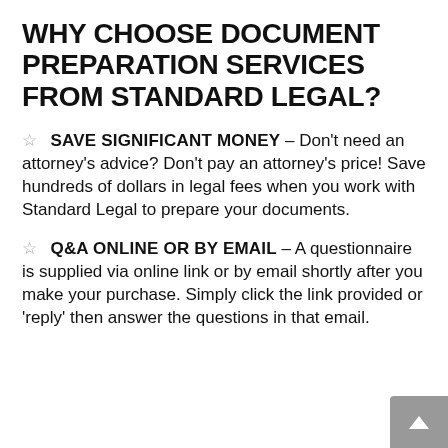WHY CHOOSE DOCUMENT PREPARATION SERVICES FROM STANDARD LEGAL?
☆  SAVE SIGNIFICANT MONEY – Don't need an attorney's advice? Don't pay an attorney's price! Save hundreds of dollars in legal fees when you work with Standard Legal to prepare your documents.
☆  Q&A ONLINE OR BY EMAIL – A questionnaire is supplied via online link or by email shortly after you make your purchase. Simply click the link provided or 'reply' then answer the questions in that email.